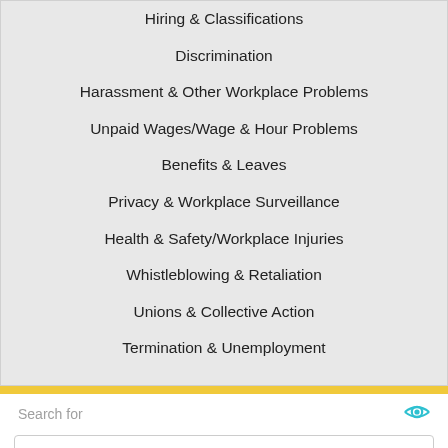Hiring & Classifications
Discrimination
Harassment & Other Workplace Problems
Unpaid Wages/Wage & Hour Problems
Benefits & Leaves
Privacy & Workplace Surveillance
Health & Safety/Workplace Injuries
Whistleblowing & Retaliation
Unions & Collective Action
Termination & Unemployment
Search for
EXAMPLES OF RESIGNATION LETTERS
PRINTABLE RESIGNATION LETTERS